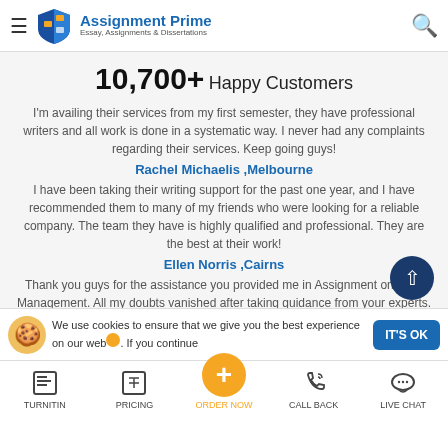Assignment Prime — Essay, Assignments & Dissertations
10,700+ Happy Customers
I'm availing their services from my first semester, they have professional writers and all work is done in a systematic way. I never had any complaints regarding their services. Keep going guys!
Rachel Michaelis ,Melbourne
I have been taking their writing support for the past one year, and I have recommended them to many of my friends who were looking for a reliable company. The team they have is highly qualified and professional. They are the best at their work!
Ellen Norris ,Cairns
Thank you guys for the assistance you provided me in Assignment on Time Management. All my doubts vanished after taking guidance from your experts. Great services. Keep up with the good work!
We use cookies to ensure that we give you the best experience on our website. If you continue
TURNITIN | PRICING | ORDER NOW | CALL BACK | LIVE CHAT